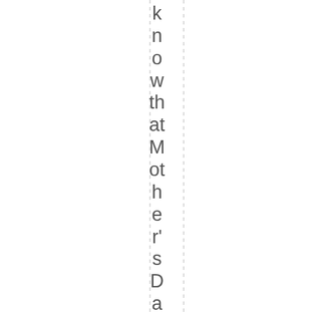know that Mother's Day is only 13 days